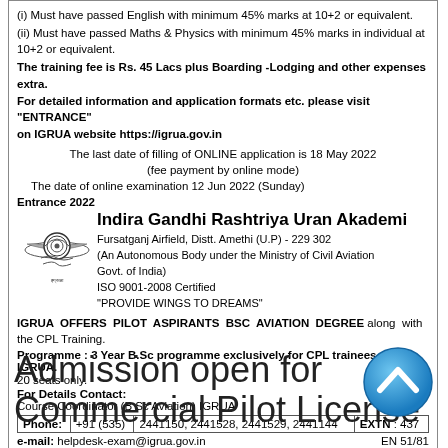(i) Must have passed English with minimum 45% marks at 10+2 or equivalent.
(ii) Must have passed Maths & Physics with minimum 45% marks in individual at 10+2 or equivalent.
The training fee is Rs. 45 Lacs plus Boarding -Lodging and other expenses extra. For detailed information and application formats etc. please visit "ENTRANCE" on IGRUA website https://igrua.gov.in
The last date of filling of ONLINE application is 18 May 2022 (fee payment by online mode)
The date of online examination 12 Jun 2022 (Sunday)
Entrance 2022
Indira Gandhi Rashtriya Uran Akademi
Fursatganj Airfield, Distt. Amethi (U.P) - 229 302
(An Autonomous Body under the Ministry of Civil Aviation Govt. of India)
ISO 9001-2008 Certified
"PROVIDE WINGS TO DREAMS"
IGRUA OFFERS PILOT ASPIRANTS BSC AVIATION DEGREE along with the CPL Training.
Programme : 3 Year B.Sc programme exclusively for CPL trainees at IGRUA.
20 seats only.
For Details Contact:
Course Coordinator (B Sc Aviation) IGRUA
| Phone: | +91 (535) | 2441150, 2441528, 2441529, 2441144 | EXTN : 437 |
| --- | --- | --- | --- |
e-mail: helpdesk-exam@igrua.gov.in
EN 51/81
Admission open for
Commercial Pilot License